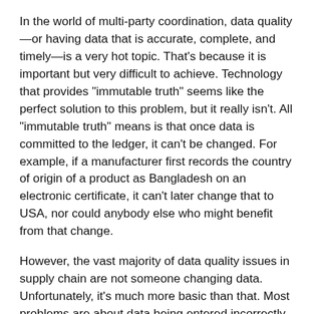In the world of multi-party coordination, data quality—or having data that is accurate, complete, and timely—is a very hot topic. That's because it is important but very difficult to achieve. Technology that provides "immutable truth" seems like the perfect solution to this problem, but it really isn't. All "immutable truth" means is that once data is committed to the ledger, it can't be changed. For example, if a manufacturer first records the country of origin of a product as Bangladesh on an electronic certificate, it can't later change that to USA, nor could anybody else who might benefit from that change.
However, the vast majority of data quality issues in supply chain are not someone changing data. Unfortunately, it's much more basic than that. Most problems are about data being entered incorrectly in the first place or coming in way too late. Or else they are about data being misunderstood or simply not being there at all. Unfortunately, blockchain does very little, if anything, to address these issues. Now,